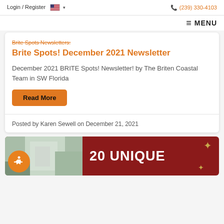Login / Register  🇺🇸 ▾   (239) 330-4103
≡ MENU
Brite Spots Newsletters:
Brite Spots! December 2021 Newsletter
December 2021 BRITE Spots! Newsletter! by The Briten Coastal Team in SW Florida
Read More
Posted by Karen Sewell on December 21, 2021
[Figure (photo): Dark red promotional card showing '20 UNIQUE' text with gold star decorations and a partial interior photo on the left]